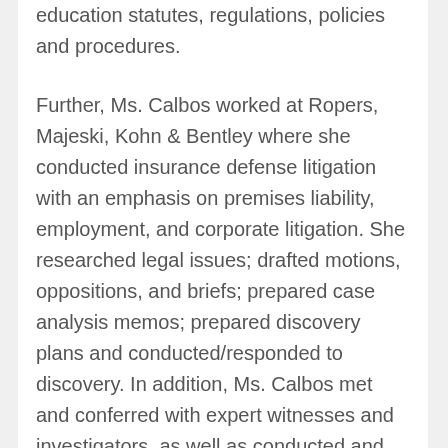education statutes, regulations, policies and procedures.
Further, Ms. Calbos worked at Ropers, Majeski, Kohn & Bentley where she conducted insurance defense litigation with an emphasis on premises liability, employment, and corporate litigation. She researched legal issues; drafted motions, oppositions, and briefs; prepared case analysis memos; prepared discovery plans and conducted/responded to discovery. In addition, Ms. Calbos met and conferred with expert witnesses and investigators, as well as conducted and defended depositions and represented clients at mediations, arbitrations, and settlement conferences.